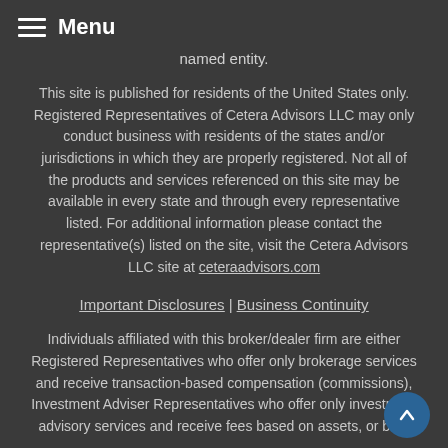Menu
named entity.
This site is published for residents of the United States only. Registered Representatives of Cetera Advisors LLC may only conduct business with residents of the states and/or jurisdictions in which they are properly registered. Not all of the products and services referenced on this site may be available in every state and through every representative listed. For additional information please contact the representative(s) listed on the site, visit the Cetera Advisors LLC site at ceteraadvisors.com
Important Disclosures | Business Continuity
Individuals affiliated with this broker/dealer firm are either Registered Representatives who offer only brokerage services and receive transaction-based compensation (commissions), Investment Adviser Representatives who offer only investment advisory services and receive fees based on assets, or both Registered Representatives and